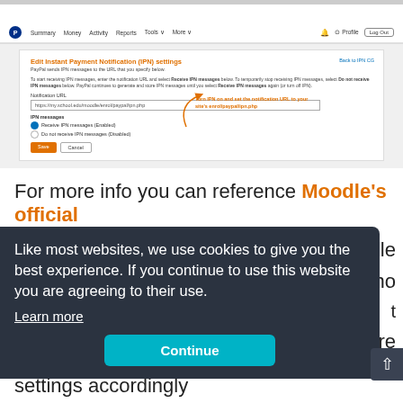[Figure (screenshot): PayPal IPN settings screenshot showing Edit Instant Payment Notification (IPN) settings form with notification URL field and IPN messages radio buttons, with orange arrow annotation saying Turn IPN on and set the notification URL to your site's enrol/paypal/ipn.php]
For more info you can reference Moodle's official
Like most websites, we use cookies to give you the best experience. If you continue to use this website you are agreeing to their use.
Learn more
Continue
oodle
no
t
ure
settings accordingly